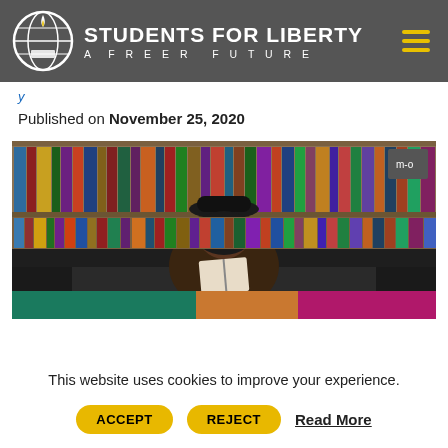STUDENTS FOR LIBERTY — A FREER FUTURE
Published on November 25, 2020
[Figure (photo): Young Black woman wearing a hat, sitting on a dark leather couch in front of a large bookshelf filled with colorful books, reading an open book. Below the photo is a color strip with teal/green, orange, and magenta/purple sections.]
This website uses cookies to improve your experience.
ACCEPT   REJECT   Read More